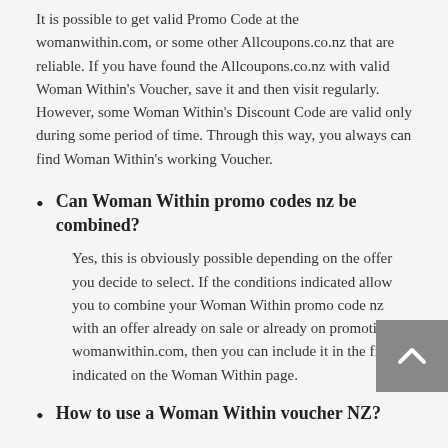It is possible to get valid Promo Code at the womanwithin.com, or some other Allcoupons.co.nz that are reliable. If you have found the Allcoupons.co.nz with valid Woman Within's Voucher, save it and then visit regularly. However, some Woman Within's Discount Code are valid only during some period of time. Through this way, you always can find Woman Within's working Voucher.
Can Woman Within promo codes nz be combined?
Yes, this is obviously possible depending on the offer you decide to select. If the conditions indicated allow you to combine your Woman Within promo code nz with an offer already on sale or already on promotion at womanwithin.com, then you can include it in the field indicated on the Woman Within page.
How to use a Woman Within voucher NZ?